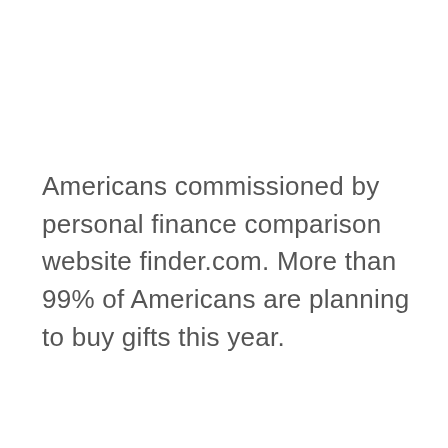Americans commissioned by personal finance comparison website finder.com. More than 99% of Americans are planning to buy gifts this year.